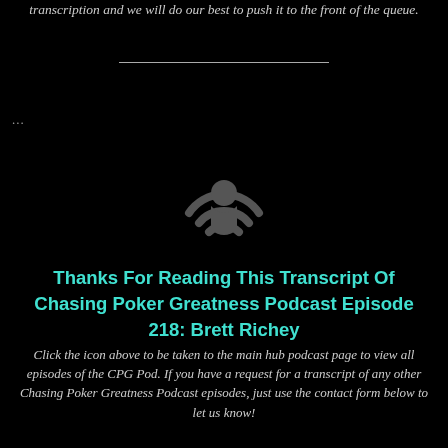transcription and we will do our best to push it to the front of the queue.
[Figure (illustration): Podcast microphone/signal icon in dark gray on black background]
Thanks For Reading This Transcript Of Chasing Poker Greatness Podcast Episode 218: Brett Richey
Click the icon above to be taken to the main hub podcast page to view all episodes of the CPG Pod. If you have a request for a transcript of any other Chasing Poker Greatness Podcast episodes, just use the contact form below to let us know!